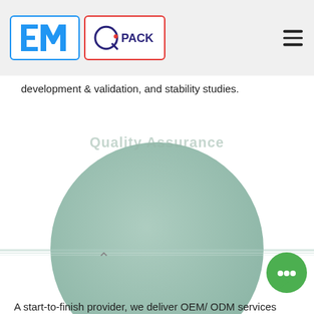EM Q-PACK logo header with hamburger menu
development & validation, and stability studies.
[Figure (illustration): Large muted teal/sage green circle with 'Quality Assurance' watermark text overlaid, decorative horizontal colored stripe across center, set on white background.]
A start-to-finish provider, we deliver OEM/ ODM services